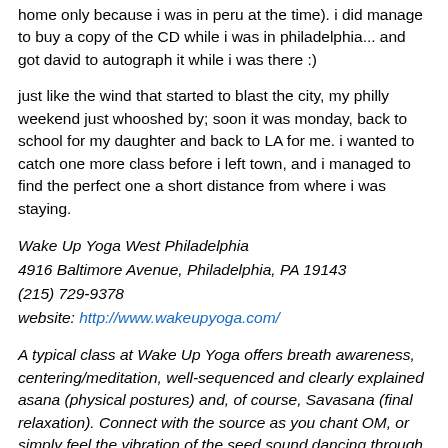home only because i was in peru at the time). i did manage to buy a copy of the CD while i was in philadelphia... and got david to autograph it while i was there :)
just like the wind that started to blast the city, my philly weekend just whooshed by; soon it was monday, back to school for my daughter and back to LA for me. i wanted to catch one more class before i left town, and i managed to find the perfect one a short distance from where i was staying.
Wake Up Yoga West Philadelphia
4916 Baltimore Avenue, Philadelphia, PA 19143
(215) 729-9378
website: http://www.wakeupyoga.com/
A typical class at Wake Up Yoga offers breath awareness, centering/meditation, well-sequenced and clearly explained asana (physical postures) and, of course, Savasana (final relaxation). Connect with the source as you chant OM, or simply feel the vibration of the seed sound dancing through your sweet self. Be an integral member of a lovely